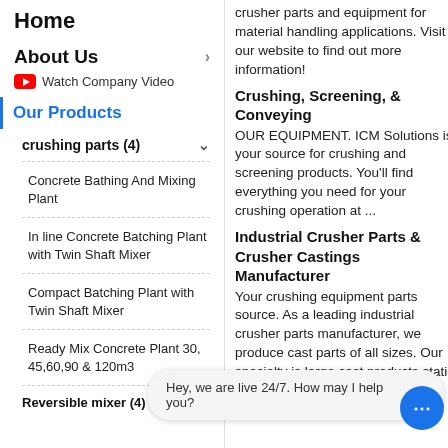Home
About Us
Watch Company Video
Our Products
crushing parts (4)
Concrete Bathing And Mixing Plant
In line Concrete Batching Plant with Twin Shaft Mixer
Compact Batching Plant with Twin Shaft Mixer
Ready Mix Concrete Plant 30, 45,60,90 & 120m3
Reversible mixer (4)
crusher parts and equipment for material handling applications. Visit our website to find out more information!
Crushing, Screening, & Conveying
OUR EQUIPMENT. ICM Solutions is your source for crushing and screening products. You'll find everything you need for your crushing operation at ...
Industrial Crusher Parts & Crusher Castings Manufacturer
Your crushing equipment parts source. As a leading industrial crusher parts manufacturer, we produce cast parts of all sizes. Our specialty is large cast products static and centrifugal
Hey, we are live 24/7. How may I help you?